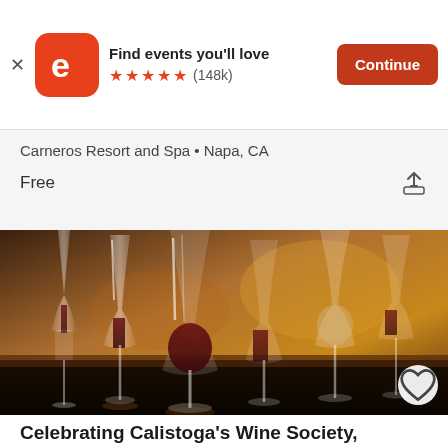[Figure (screenshot): Eventbrite app promotional banner with orange logo showing letter 'e', bold text 'Find events you’ll love', five orange stars, rating '(148k)', and orange 'Continue' button]
Carneros Resort and Spa • Napa, CA
Free
[Figure (photo): Close-up photo of multiple wine glasses filled with red and white wine lined up on a table with warm golden lighting in the background]
Celebrating Calistoga's Wine Society,